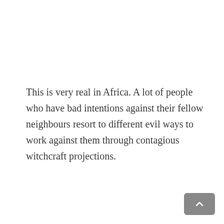This is very real in Africa. A lot of people who have bad intentions against their fellow neighbours resort to different evil ways to work against them through contagious witchcraft projections.